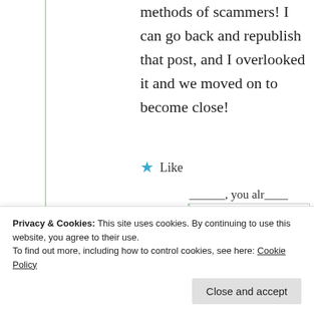methods of scammers! I can go back and republish that post, and I overlooked it and we moved on to become close!
★ Like
[Figure (photo): Partial view of a user avatar (circular profile photo) with partial name text visible]
Privacy & Cookies: This site uses cookies. By continuing to use this website, you agree to their use. To find out more, including how to control cookies, see here: Cookie Policy
Close and accept